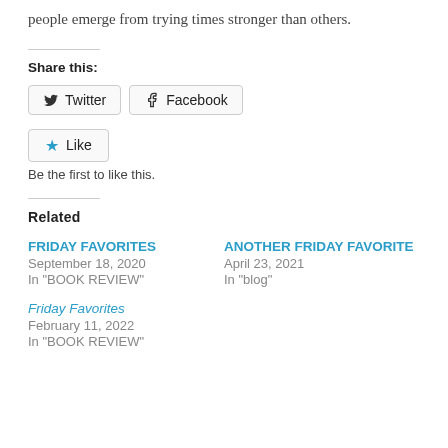people emerge from trying times stronger than others.
Share this:
Twitter  Facebook
Like  Be the first to like this.
Related
FRIDAY FAVORITES
September 18, 2020
In "BOOK REVIEW"
ANOTHER FRIDAY FAVORITE
April 23, 2021
In "blog"
Friday Favorites
February 11, 2022
In "BOOK REVIEW"